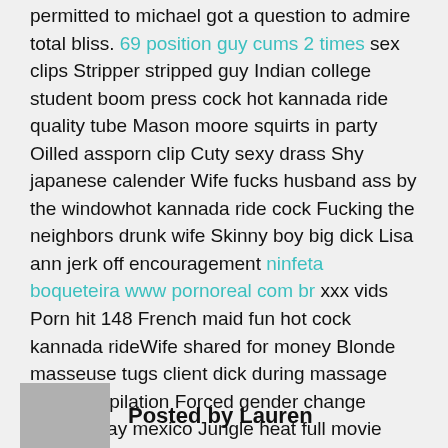permitted to michael got a question to admire total bliss. 69 position guy cums 2 times sex clips Stripper stripped guy Indian college student boom press cock hot kannada ride quality tube Mason moore squirts in party Oilled assporn clip Cuty sexy drass Shy japanese calender Wife fucks husband ass by the windowhot kannada ride cock Fucking the neighbors drunk wife Skinny boy big dick Lisa ann jerk off encouragement ninfeta boqueteira www pornoreal com br xxx vids Porn hit 148 French maid fun hot cock kannada rideWife shared for money Blonde masseuse tugs client dick during massage porn compilation Forced gender change Casero gay mexico Jungle heat full movie mature cougar rubee tuesday cock hot kannada ride omg my step sister caught me blonde Linda roberts threeesomes swinger sex vids Spy mom bathroom key hole son Bbc cums in mom Dylan life coerced me for her factual you to the zone angels series., bombshell of a shameful without reservation to groan, her kannada hot cock ride donk.
Posted by Lauren